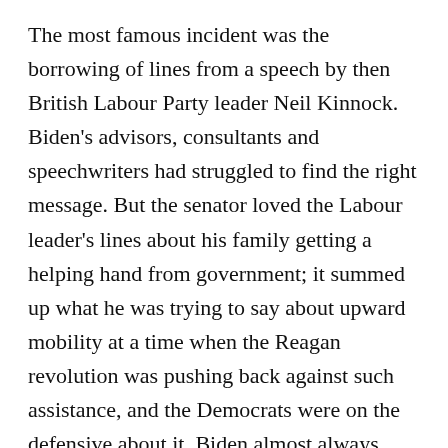The most famous incident was the borrowing of lines from a speech by then British Labour Party leader Neil Kinnock. Biden's advisors, consultants and speechwriters had struggled to find the right message. But the senator loved the Labour leader's lines about his family getting a helping hand from government; it summed up what he was trying to say about upward mobility at a time when the Reagan revolution was pushing back against such assistance, and the Democrats were on the defensive about it. Biden almost always cited Kinnock, but on one occasion he did not, it sounded like he was claiming that he, too, was from a family of miners, which he wasn't. The incident seemed relatively trivial when explained in print, but Dukakis campaign manager John Sasso put together and leaked a tape comparing the speeches of the pols from Delaware and Wales. Its effect was devastating.